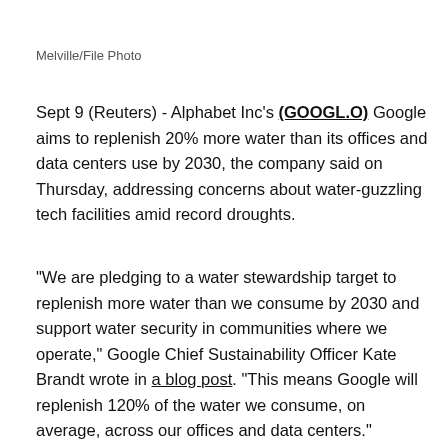Melville/File Photo
Sept 9 (Reuters) - Alphabet Inc's (GOOGL.O) Google aims to replenish 20% more water than its offices and data centers use by 2030, the company said on Thursday, addressing concerns about water-guzzling tech facilities amid record droughts.
"We are pledging to a water stewardship target to replenish more water than we consume by 2030 and support water security in communities where we operate," Google Chief Sustainability Officer Kate Brandt wrote in a blog post. "This means Google will replenish 120% of the water we consume, on average, across our offices and data centers."